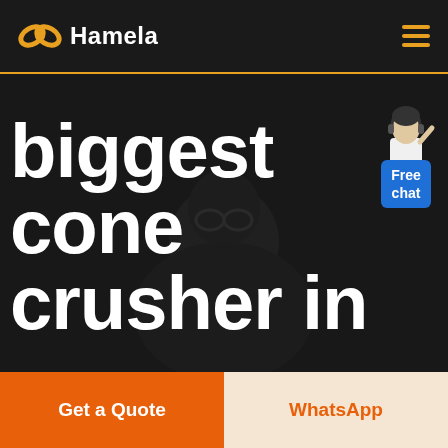[Figure (logo): Hamela brand logo with orange infinity/wing icon and white 'Hamela' text on dark header bar]
[Figure (screenshot): Website hero section with dark background showing a silhouette of a person with glasses, large bold white text reading 'biggest cone crusher in', and a Free chat widget in the top right corner]
biggest cone crusher in
Free chat
Get a Quote
WhatsApp